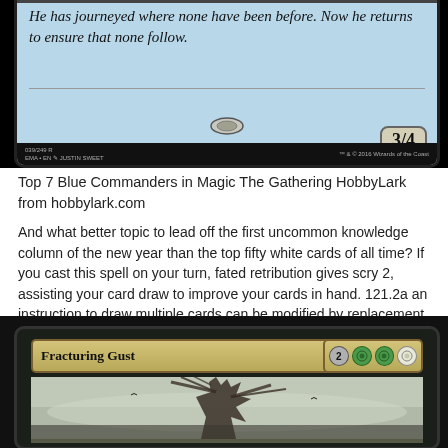[Figure (photo): Top portion of a Magic: The Gathering card showing flavor text and 3/4 stat box. Card has a blue background. Flavor text reads: 'He has journeyed where none have been before. Now he returns to ensure that none follow.' Set info: 039/249 R, EMA, EN, by Justin Sweet, TM & C 2016 Wizards of the Coast.]
Top 7 Blue Commanders in Magic The Gathering HobbyLark from hobbylark.com
And what better topic to lead off the first uncommon knowledge column of the new year than the top fifty white cards of all time? If you cast this spell on your turn, fated retribution gives scry 2, assisting your card draw to improve your cards in hand. 121.2a an instruction to draw multiple cards can be modified by replacement effects that refer to the number of cards drawn.
[Figure (photo): Bottom portion showing a Magic: The Gathering card named 'Fracturing Gust' with mana cost 2GGW (two generic, two green, one white). Card has a dark background with artwork showing a gnarled tree in misty/grey atmosphere.]